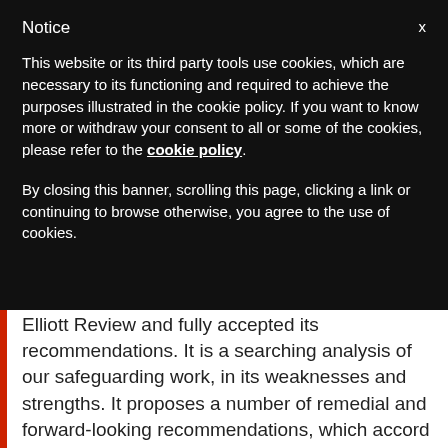Notice
This website or its third party tools use cookies, which are necessary to its functioning and required to achieve the purposes illustrated in the cookie policy. If you want to know more or withdraw your consent to all or some of the cookies, please refer to the cookie policy.
By closing this banner, scrolling this page, clicking a link or continuing to browse otherwise, you agree to the use of cookies.
Elliott Review and fully accepted its recommendations. It is a searching analysis of our safeguarding work, in its weaknesses and strengths. It proposes a number of remedial and forward-looking recommendations, which accord with the IICSA Report’s own recommendations. The work of implementation